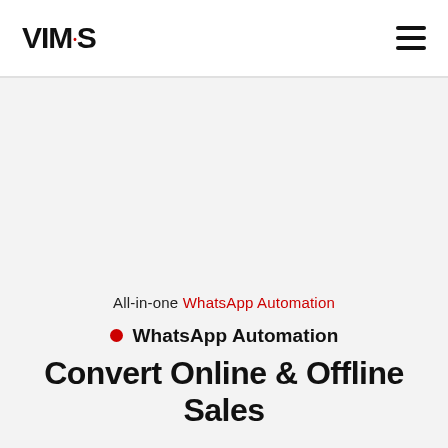VIMOS
All-in-one WhatsApp Automation
WhatsApp Automation
Convert Online & Offline Sales